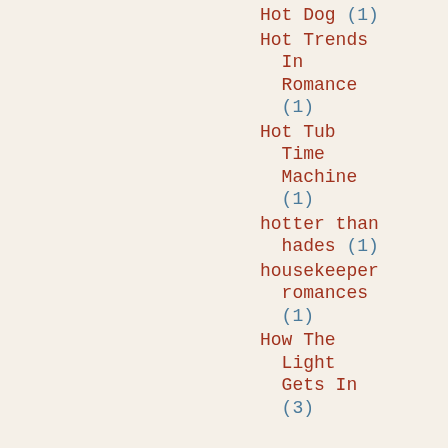Hot Dog (1)
Hot Trends In Romance (1)
Hot Tub Time Machine (1)
hotter than hades (1)
housekeeper romances (1)
How The Light Gets In (3)